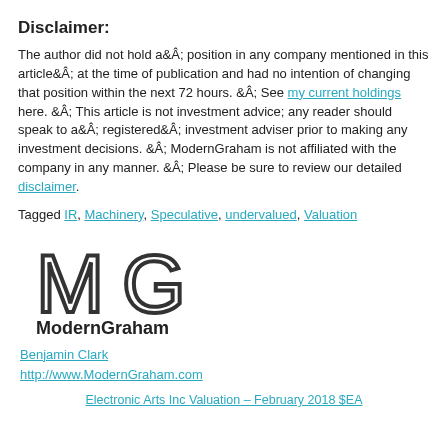Disclaimer:
The author did not hold aÂ position in any company mentioned in this articleÂ at the time of publication and had no intention of changing that position within the next 72 hours. Â See my current holdings here. Â This article is not investment advice; any reader should speak to aÂ registeredÂ investment adviser prior to making any investment decisions. Â ModernGraham is not affiliated with the company in any manner. Â Please be sure to review our detailed disclaimer.
Tagged IR, Machinery, Speculative, undervalued, Valuation
[Figure (logo): ModernGraham logo: stylized MG letters in outline font with 'ModernGraham' text below in bold]
Benjamin Clark
http://www.ModernGraham.com
Electronic Arts Inc Valuation – February 2018 $EA